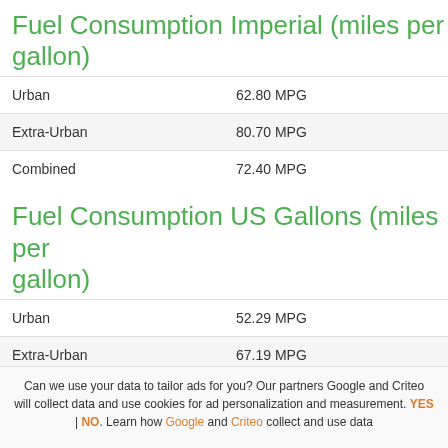Fuel Consumption Imperial (miles per gallon)
|  |  |
| --- | --- |
| Urban | 62.80 MPG |
| Extra-Urban | 80.70 MPG |
| Combined | 72.40 MPG |
Fuel Consumption US Gallons (miles per gallon)
|  |  |
| --- | --- |
| Urban | 52.29 MPG |
| Extra-Urban | 67.19 MPG |
| Combined | 60.28 MPG |
Can we use your data to tailor ads for you? Our partners Google and Criteo will collect data and use cookies for ad personalization and measurement. YES | NO. Learn how Google and Criteo collect and use data